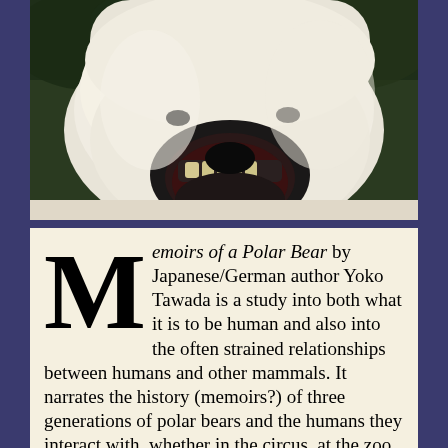[Figure (photo): Close-up photograph of a polar bear with its mouth wide open, showing teeth and dark gums, white fur, against a dark green background]
Memoirs of a Polar Bear by Japanese/German author Yoko Tawada is a study into both what it is to be human and also into the often strained relationships between humans and other mammals. It narrates the history (memoirs?) of three generations of polar bears and the humans they interact with, whether in the circus, at the zoo, or at an international conference. The polar bears themselves are at one time creatures of the great northern wilds and at another time balancing on a